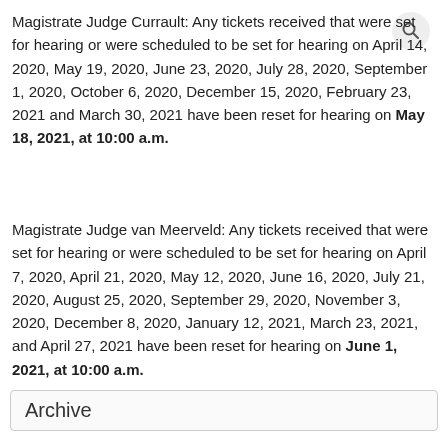Magistrate Judge Currault:  Any tickets received that were set for hearing or were scheduled to be set for hearing on April 14, 2020, May 19, 2020, June 23, 2020, July 28, 2020, September 1, 2020, October 6, 2020, December 15, 2020, February 23, 2021 and March 30, 2021 have been reset for hearing on May 18, 2021, at 10:00 a.m.
Magistrate Judge van Meerveld:  Any tickets received that were set for hearing or were scheduled to be set for hearing on April 7, 2020, April 21, 2020, May 12, 2020, June 16, 2020, July 21, 2020, August 25, 2020, September 29, 2020, November 3, 2020, December 8, 2020, January 12, 2021,  March 23, 2021, and April 27, 2021 have been reset for hearing on June 1, 2021, at 10:00 a.m.
Archive